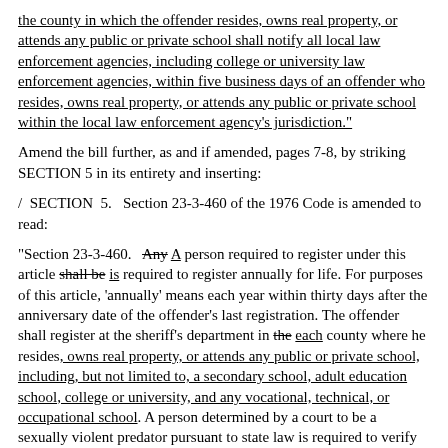the county in which the offender resides, owns real property, or attends any public or private school shall notify all local law enforcement agencies, including college or university law enforcement agencies, within five business days of an offender who resides, owns real property, or attends any public or private school within the local law enforcement agency's jurisdiction."
Amend the bill further, as and if amended, pages 7-8, by striking SECTION 5 in its entirety and inserting:
/  SECTION  5.   Section 23-3-460 of the 1976 Code is amended to read:
"Section 23-3-460.   Any A person required to register under this article shall be is required to register annually for life. For purposes of this article, 'annually' means each year within thirty days after the anniversary date of the offender's last registration. The offender shall register at the sheriff's department in the each county where he resides, owns real property, or attends any public or private school, including, but not limited to, a secondary school, adult education school, college or university, and any vocational, technical, or occupational school. A person determined by a court to be a sexually violent predator pursuant to state law is required to verify registration and be photographed every ninety days by the sheriff's department in the county in which he resides unless the